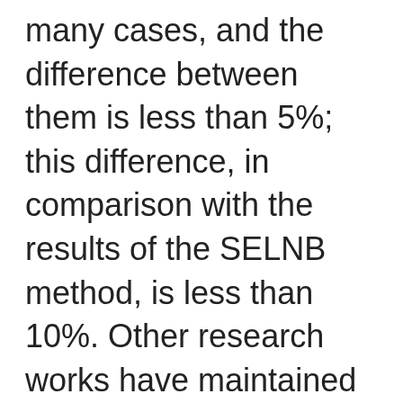many cases, and the difference between them is less than 5%; this difference, in comparison with the results of the SELNB method, is less than 10%. Other research works have maintained that, for brittle materials, the KIC results obtained by the SENB approach are more reliable than those obtained by the VIF method,66) and that the